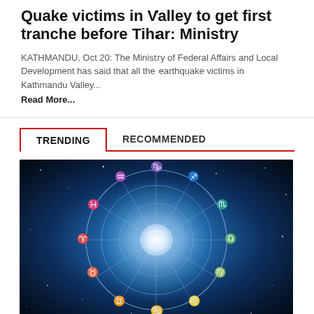Quake victims in Valley to get first tranche before Tihar: Ministry
KATHMANDU, Oct 20: The Ministry of Federal Affairs and Local Development has said that all the earthquake victims in Kathmandu Valley...
Read More...
TRENDING    RECOMMENDED
[Figure (photo): Zodiac wheel with astrological signs arranged in a circle against a dark blue starry background with a glowing moon in the center]